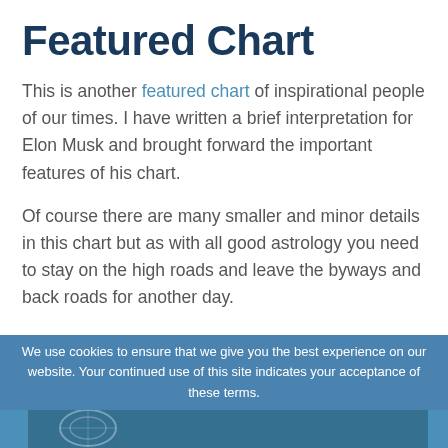Featured Chart
This is another featured chart of inspirational people of our times. I have written a brief interpretation for Elon Musk and brought forward the important features of his chart.
Of course there are many smaller and minor details in this chart but as with all good astrology you need to stay on the high roads and leave the byways and back roads for another day.
Africa as you may know I spent the majority of my life there so it is close to my heart.
We use cookies to ensure that we give you the best experience on our website. Your continued use of this site indicates your acceptance of these terms.
[Figure (photo): Partial image visible at bottom of page, appears to be an astrology chart or related illustration with blue tones]